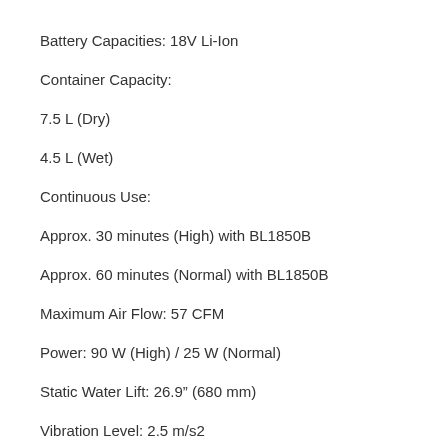Battery Capacities: 18V Li-Ion
Container Capacity:
7.5 L (Dry)
4.5 L (Wet)
Continuous Use:
Approx. 30 minutes (High) with BL1850B
Approx. 60 minutes (Normal) with BL1850B
Maximum Air Flow: 57 CFM
Power: 90 W (High) / 25 W (Normal)
Static Water Lift: 26.9" (680 mm)
Vibration Level: 2.5 m/s2